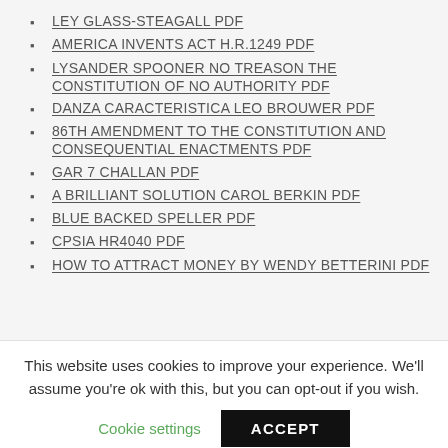LEY GLASS-STEAGALL PDF
AMERICA INVENTS ACT H.R.1249 PDF
LYSANDER SPOONER NO TREASON THE CONSTITUTION OF NO AUTHORITY PDF
DANZA CARACTERISTICA LEO BROUWER PDF
86TH AMENDMENT TO THE CONSTITUTION AND CONSEQUENTIAL ENACTMENTS PDF
GAR 7 CHALLAN PDF
A BRILLIANT SOLUTION CAROL BERKIN PDF
BLUE BACKED SPELLER PDF
CPSIA HR4040 PDF
HOW TO ATTRACT MONEY BY WENDY BETTERINI PDF
This website uses cookies to improve your experience. We'll assume you're ok with this, but you can opt-out if you wish.
Cookie settings   ACCEPT